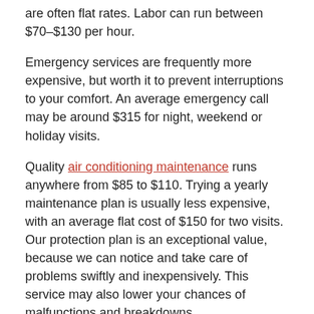are often flat rates. Labor can run between $70–$130 per hour.
Emergency services are frequently more expensive, but worth it to prevent interruptions to your comfort. An average emergency call may be around $315 for night, weekend or holiday visits.
Quality air conditioning maintenance runs anywhere from $85 to $110. Trying a yearly maintenance plan is usually less expensive, with an average flat cost of $150 for two visits. Our protection plan is an exceptional value, because we can notice and take care of problems swiftly and inexpensively. This service may also lower your chances of malfunctions and breakdowns.
Should I Repair or Replace My Air